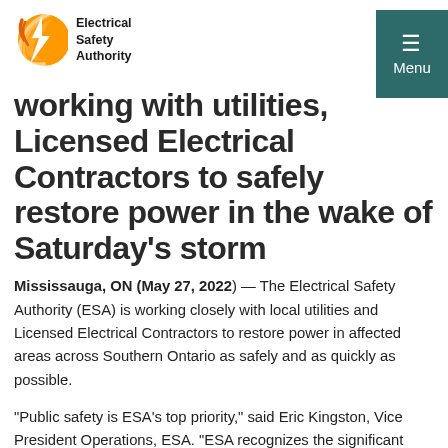Electrical Safety Authority — Menu
working with utilities, Licensed Electrical Contractors to safely restore power in the wake of Saturday's storm
Mississauga, ON (May 27, 2022) — The Electrical Safety Authority (ESA) is working closely with local utilities and Licensed Electrical Contractors to restore power in affected areas across Southern Ontario as safely and as quickly as possible.
"Public safety is ESA's top priority," said Eric Kingston, Vice President Operations, ESA. "ESA recognizes the significant disruption a sustained power outage has on daily life. Our inspectors are working closely with utilities and Licensed Electrical Contractors to ensure storm damaged homes are reconnected in